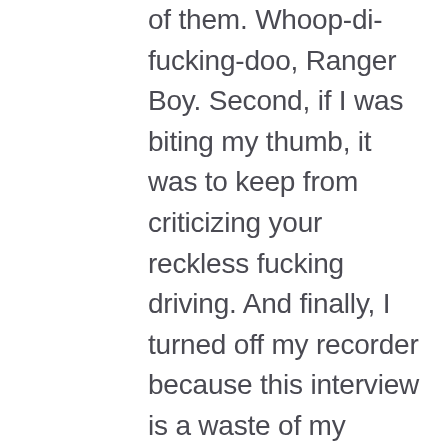of them. Whoop-di-fucking-doo, Ranger Boy. Second, if I was biting my thumb, it was to keep from criticizing your reckless fucking driving. And finally, I turned off my recorder because this interview is a waste of my fucking time. And if you think for a hot second that I might use my feminine wiles to get a story out of you, you're a fucking asshole who deserves to be hunted down by paparazzi. I'll make sure that